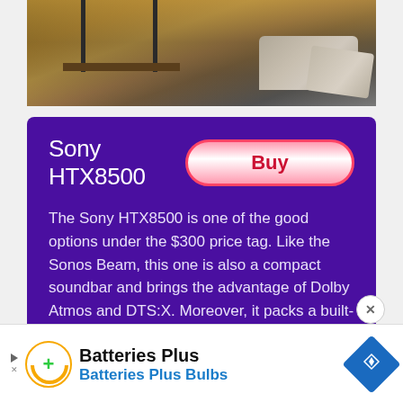[Figure (photo): Photo of a living room scene showing furniture legs, a wooden shelf, and a grey cushion/sofa in warm light]
Sony HTX8500
The Sony HTX8500 is one of the good options under the $300 price tag. Like the Sonos Beam, this one is also a compact soundbar and brings the advantage of Dolby Atmos and DTS:X. Moreover, it packs a built-in subwoofer. The latter means you will get significantly bass while listening to your favorite songs or movies. At the same time, you are likely to save on your floor space that is usually required for a dedicated sub.
[Figure (logo): Batteries Plus advertisement banner with orange circular logo with green plus sign, text 'Batteries Plus' and 'Batteries Plus Bulbs', and blue diamond navigation icon]